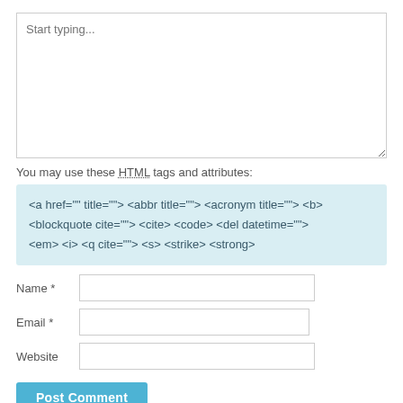[Figure (screenshot): Comment text area input box with placeholder text 'Start typing...']
You may use these HTML tags and attributes:
<a href="" title=""> <abbr title=""> <acronym title=""> <b> <blockquote cite=""> <cite> <code> <del datetime=""> <em> <i> <q cite=""> <s> <strike> <strong>
Name *
Email *
Website
Post Comment